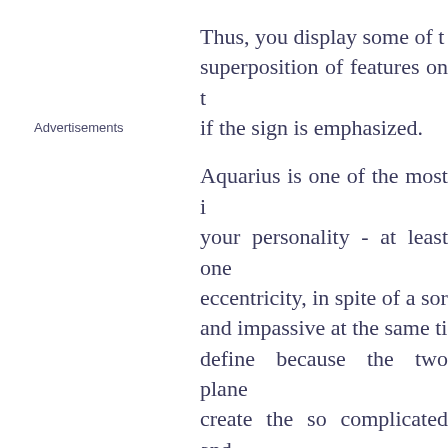Thus, you display some of the superposition of features on the if the sign is emphasized.
Advertisements
Aquarius is one of the most i your personality - at least one eccentricity, in spite of a sor and impassive at the same ti define because the two plane create the so complicated and Saturn's seriousness and imp individualism, charisma, extr main characteristics is that y you tend to do so easily in pu charming in public, despite y frustrate many of your admire show deep and warm affecti reality are two different things have at least a tremendous d and an active social life. If yo aspect, since the rest of char